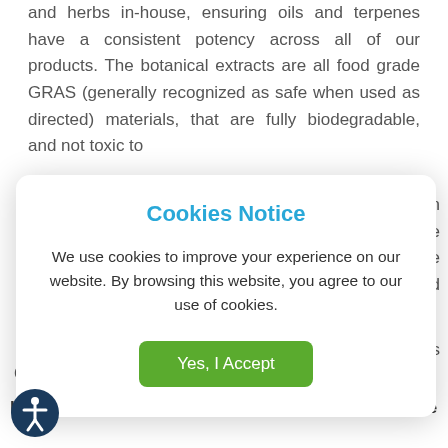and herbs in-house, ensuring oils and terpenes have a consistent potency across all of our products. The botanical extracts are all food grade GRAS (generally recognized as safe when used as directed) materials, that are fully biodegradable, and not toxic to
[Figure (screenshot): Cookies Notice modal dialog with title 'Cookies Notice' in blue, body text 'We use cookies to improve your experience on our website. By browsing this website, you agree to our use of cookies.', and a green 'Yes, I Accept' button.]
Gnat, White Flies, Gnat Larvae, Thrips & more.
here to Use SNS's Soil Drench/Foliar Spray Pesticide